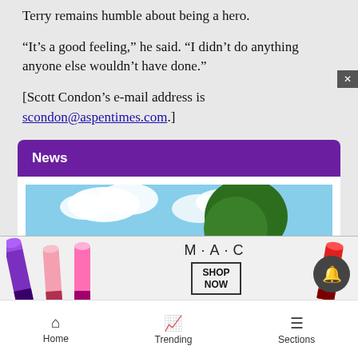Terry remains humble about being a hero.
“It’s a good feeling,” he said. “I didn’t do anything anyone else wouldn’t have done.”
[Scott Condon’s e-mail address is scondon@aspentimes.com.]
News
[Figure (photo): Children on bicycles outdoors with a large tree and blue sky with clouds in the background]
[Figure (infographic): MAC cosmetics advertisement showing lipsticks in purple, pink, and red with MAC logo and SHOP NOW button]
Home   Trending   Sections